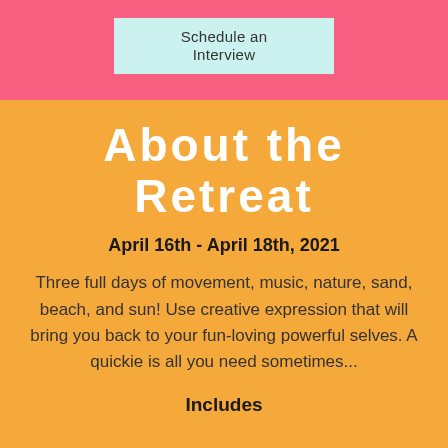Schedule an Interview
About the Retreat
April 16th - April 18th, 2021
Three full days of movement, music, nature, sand, beach, and sun! Use creative expression that will bring you back to your fun-loving powerful selves. A quickie is all you need sometimes...
Includes